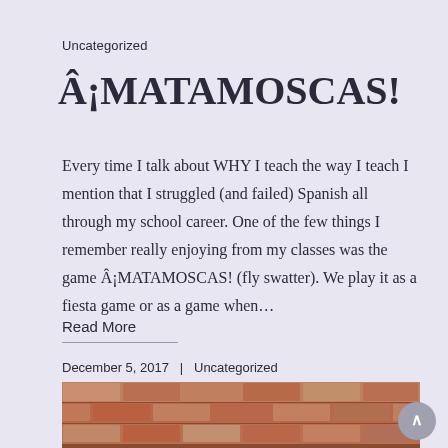Uncategorized
Â¡MATAMOSCAS!
Every time I talk about WHY I teach the way I teach I mention that I struggled (and failed) Spanish all through my school career. One of the few things I remember really enjoying from my classes was the game Â¡MATAMOSCAS! (fly swatter). We play it as a fiesta game or as a game when…
Read More
December 5, 2017   |   Uncategorized
[Figure (photo): Brick wall image at the bottom of the page]